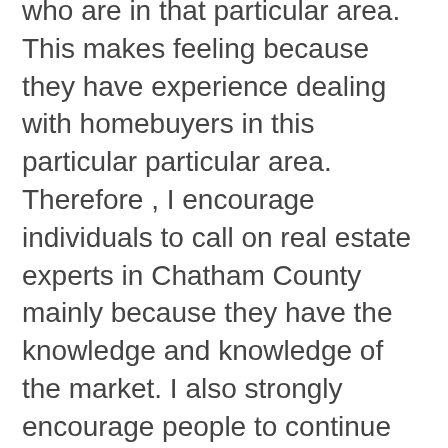who are in that particular area. This makes feeling because they have experience dealing with homebuyers in this particular particular area. Therefore, I encourage individuals to call on real estate experts in Chatham County mainly because they have the knowledge and knowledge of the market. I also strongly encourage people to continue on the internet, look up some real estate market reports in Chatham Region, and then look at what they state about the home they are planning on buying.
Others also declare they americanbusinesscouncil.net need help by real estate experts in terms of locating a buyer for his or her property. A lot of them actually wrap up going out and seeking their own new buyer but never find the right property or home management provider. When looking for home management in mebane north Carolina, I always try to look for someone who has experience dealing with the precise issues belonging to